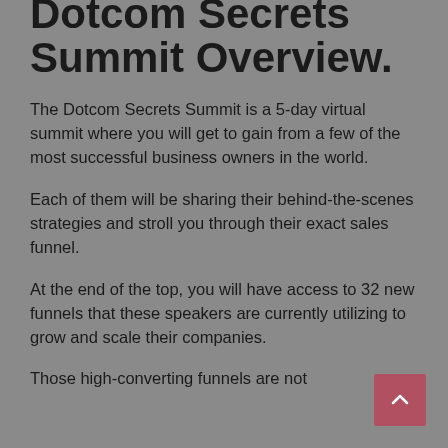Dotcom Secrets Summit Overview.
The Dotcom Secrets Summit is a 5-day virtual summit where you will get to gain from a few of the most successful business owners in the world.
Each of them will be sharing their behind-the-scenes strategies and stroll you through their exact sales funnel.
At the end of the top, you will have access to 32 new funnels that these speakers are currently utilizing to grow and scale their companies.
Those high-converting funnels are not